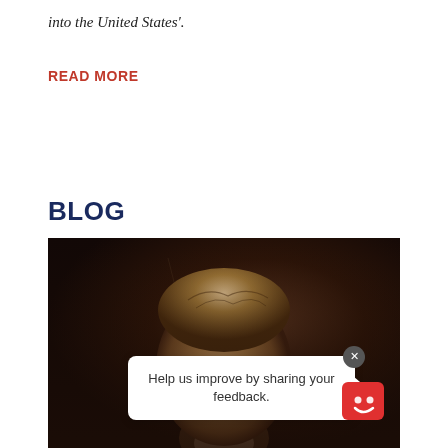into the United States'.
READ MORE
BLOG
[Figure (photo): Sepia-toned vintage portrait photograph of a person, partially visible, with curly hair, set against a very dark background. A feedback popup widget overlays the lower portion of the image with text 'Help us improve by sharing your feedback.' and a red smiley face icon.]